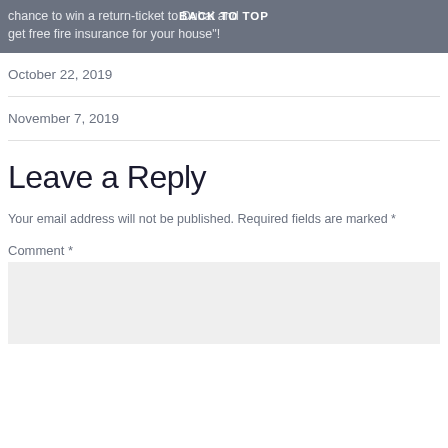chance to win a return-ticket to Dubai and get free fire insurance for your house"! BACK TO TOP
October 22, 2019
November 7, 2019
Leave a Reply
Your email address will not be published. Required fields are marked *
Comment *